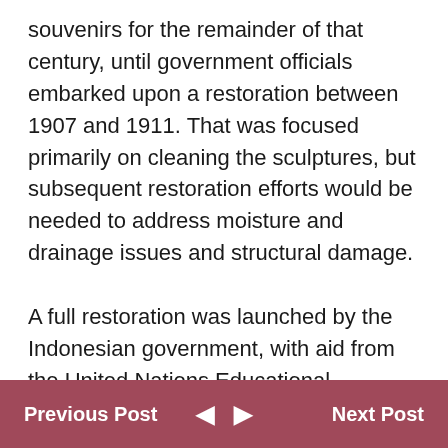souvenirs for the remainder of that century, until government officials embarked upon a restoration between 1907 and 1911. That was focused primarily on cleaning the sculptures, but subsequent restoration efforts would be needed to address moisture and drainage issues and structural damage.
A full restoration was launched by the Indonesian government, with aid from the United Nations Educational, Scientific and Cultural Organization (UNESCO). That took from 1975 to 1982, leading to UNESCO listing Borobudur as a World Heritage Site.
Although it is frequently referred to as "one of the seven wonders" it is unclear whether Borobudur ... y on a ...
Previous Post   ◄   ►   Next Post